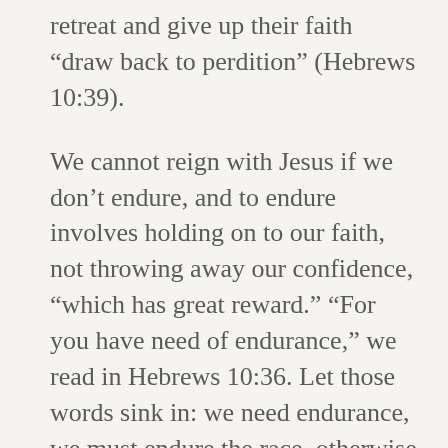retreat and give up their faith “draw back to perdition” (Hebrews 10:39).
We cannot reign with Jesus if we don’t endure, and to endure involves holding on to our faith, not throwing away our confidence, “which has great reward.” “For you have need of endurance,” we read in Hebrews 10:36. Let those words sink in: we need endurance, we must endure the race, otherwise we have no claim to the reward of eternal life.
Now, with Hebrews 10 having assisted the words of Jesus and the words of Paul elsewhere, we can understand why Paul would tell Timothy that this faithful or believing